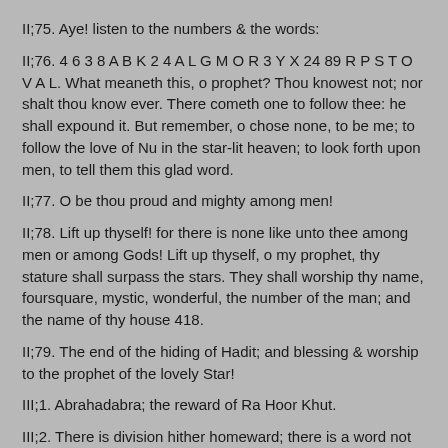II;75. Aye! listen to the numbers & the words:
II;76. 4 6 3 8 A B K 2 4 A L G M O R 3 Y X 24 89 R P S T O V A L. What meaneth this, o prophet? Thou knowest not; nor shalt thou know ever. There cometh one to follow thee: he shall expound it. But remember, o chose none, to be me; to follow the love of Nu in the star-lit heaven; to look forth upon men, to tell them this glad word.
II;77. O be thou proud and mighty among men!
II;78. Lift up thyself! for there is none like unto thee among men or among Gods! Lift up thyself, o my prophet, thy stature shall surpass the stars. They shall worship thy name, foursquare, mystic, wonderful, the number of the man; and the name of thy house 418.
II;79. The end of the hiding of Hadit; and blessing & worship to the prophet of the lovely Star!
III;1. Abrahadabra; the reward of Ra Hoor Khut.
III;2. There is division hither homeward; there is a word not known. Spelling is defunct; all is not aught. Beware! Hold! Raise the spell of Ra-Hoor-Khuit!
III;3. Now let it be first understood that I am a god of War and of Vengeance. I shall deal hardly with them.